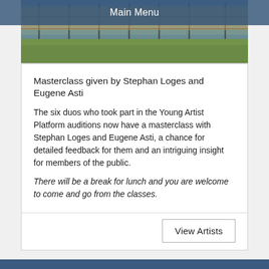Main Menu
[Figure (photo): Outdoor photo showing a building with fence/railings and a green lawn area in the foreground]
Masterclass given by Stephan Loges and Eugene Asti
The six duos who took part in the Young Artist Platform auditions now have a masterclass with Stephan Loges and Eugene Asti, a chance for detailed feedback for them and an intriguing insight for members of the public.
There will be a break for lunch and you are welcome to come and go from the classes.
View Artists